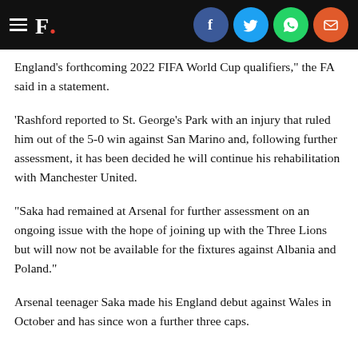F. [with social icons: Facebook, Twitter, WhatsApp, Email]
England's forthcoming 2022 FIFA World Cup qualifiers," the FA said in a statement.
'Rashford reported to St. George's Park with an injury that ruled him out of the 5-0 win against San Marino and, following further assessment, it has been decided he will continue his rehabilitation with Manchester United.
"Saka had remained at Arsenal for further assessment on an ongoing issue with the hope of joining up with the Three Lions but will now not be available for the fixtures against Albania and Poland."
Arsenal teenager Saka made his England debut against Wales in October and has since won a further three caps.